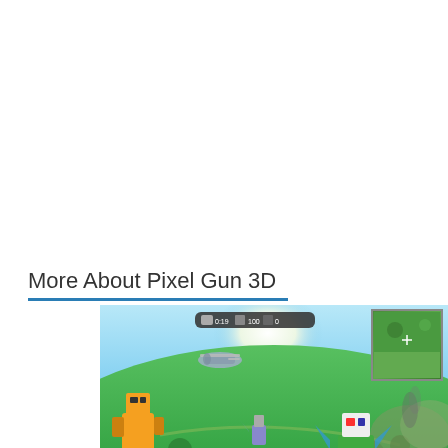More About Pixel Gun 3D
[Figure (screenshot): Screenshot of Pixel Gun 3D game showing blocky 3D characters flying over a colorful landscape map. Two main characters visible: one orange/red on the left and one green/white on the right riding a yellow bird. A helicopter is visible in the sky. A minimap is in the top-right corner. HUD elements visible at top center.]